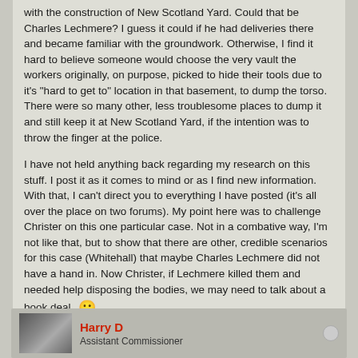with the construction of New Scotland Yard. Could that be Charles Lechmere? I guess it could if he had deliveries there and became familiar with the groundwork. Otherwise, I find it hard to believe someone would choose the very vault the workers originally, on purpose, picked to hide their tools due to it's "hard to get to" location in that basement, to dump the torso. There were so many other, less troublesome places to dump it and still keep it at New Scotland Yard, if the intention was to throw the finger at the police.
I have not held anything back regarding my research on this stuff. I post it as it comes to mind or as I find new information. With that, I can't direct you to everything I have posted (it's all over the place on two forums). My point here was to challenge Christer on this one particular case. Not in a combative way, I'm not like that, but to show that there are other, credible scenarios for this case (Whitehall) that maybe Charles Lechmere did not have a hand in. Now Christer, if Lechmere killed them and needed help disposing the bodies, we may need to talk about a book deal. 🙂
Last edited by jerryd; 09-06-2021, 03:44 PM.
1 like
Harry D
Assistant Commissioner